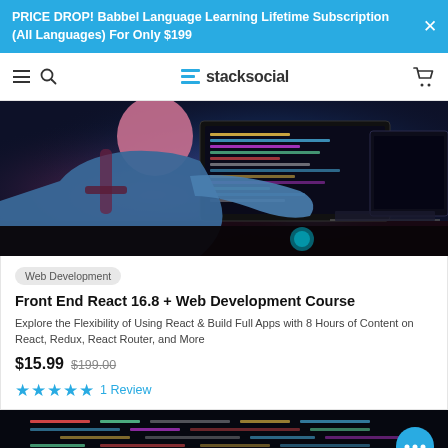PRICE DROP! Babbel Language Learning Lifetime Subscription (All Languages) For Only $199
[Figure (screenshot): StackSocial website navigation bar with hamburger menu, search icon, stacksocial logo, and cart icon]
[Figure (photo): Person sitting at a desk with multiple computer monitors showing code, with blue and purple lighting]
Web Development
Front End React 16.8 + Web Development Course
Explore the Flexibility of Using React & Build Full Apps with 8 Hours of Content on React, Redux, React Router, and More
$15.99  $199.00
★★★★★  1 Review
[Figure (screenshot): Bottom portion of another product listing showing dark background with colorful code text]